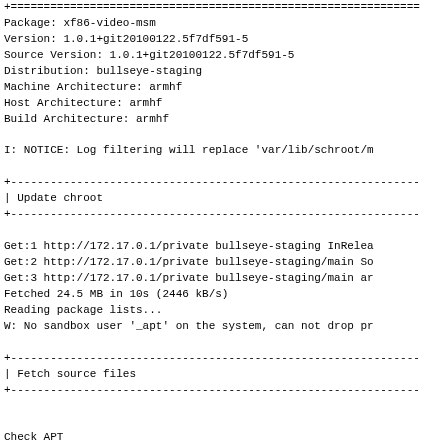+==============================================================

Package: xf86-video-msm
Version: 1.0.1+git20100122.5f7df591-5
Source Version: 1.0.1+git20100122.5f7df591-5
Distribution: bullseye-staging
Machine Architecture: armhf
Host Architecture: armhf
Build Architecture: armhf

I: NOTICE: Log filtering will replace 'var/lib/schroot/m

+--------------------------------------------------------------
| Update chroot
+--------------------------------------------------------------

Get:1 http://172.17.0.1/private bullseye-staging InRelea
Get:2 http://172.17.0.1/private bullseye-staging/main So
Get:3 http://172.17.0.1/private bullseye-staging/main ar
Fetched 24.5 MB in 10s (2446 kB/s)
Reading package lists...
W: No sandbox user '_apt' on the system, can not drop pr

+--------------------------------------------------------------
| Fetch source files
+--------------------------------------------------------------


Check APT
---------
Package: xf86-video-msm
Version: 1.0.1+git20100122.5f7df591-5
Source Version: 1.0.1+git20100122.5f7df591-5
Distribution: bullseye-staging
Machine Architecture: armhf
Host Architecture: armhf
Build Architecture: armhf
I: NOTICE: Log filtering will replace 'var/lib/schroot/m
| Update chroot
Get:1 http://172.17.0.1/private bullseye-staging InRelea
Get:2 http://172.17.0.1/private bullseye-staging/main So
Get:3 http://172.17.0.1/private bullseye-staging/main ar
Fetched 24.5 MB in 10s (2446 kB/s)
Reading package lists...
W: No sandbox user '_apt' on the system, can not drop pr
| Fetch source files
Check APT